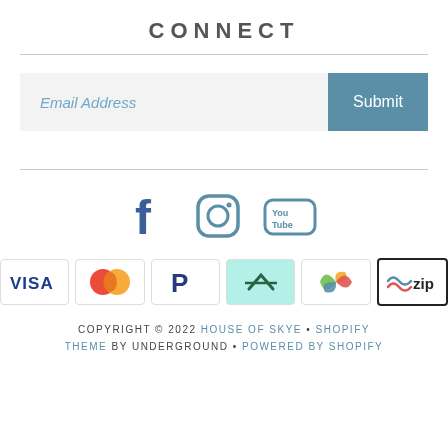CONNECT
[Figure (other): Email address input field with Submit button]
[Figure (other): Social media icons: Facebook, Instagram, YouTube]
[Figure (other): Payment method icons: VISA, Mastercard, PayPal, Afterpay, Petal, Zip]
COPYRIGHT © 2022 HOUSE OF SKYE • SHOPIFY THEME BY UNDERGROUND • POWERED BY SHOPIFY